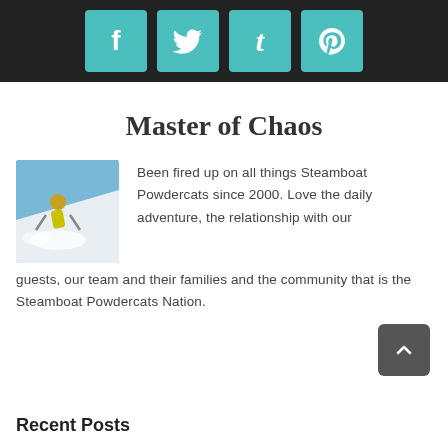[Figure (infographic): Social media icons bar: Facebook (f), Twitter (bird), Tumblr (t), Pinterest (p) — teal/cyan square buttons on dark background]
Master of Chaos
[Figure (photo): Skier in yellow jacket skiing powder snow on a blue sky day]
Been fired up on all things Steamboat Powdercats since 2000. Love the daily adventure, the relationship with our guests, our team and their families and the community that is the Steamboat Powdercats Nation.
Recent Posts